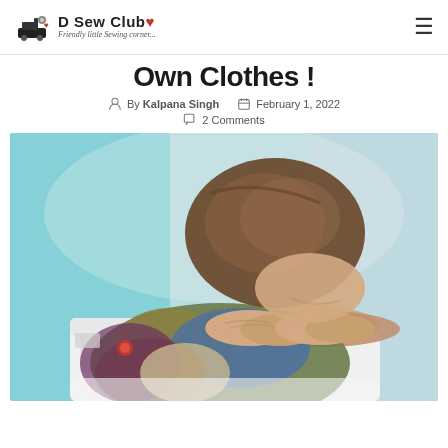D Sew Club — Friendly little Sewing corner...
Own Clothes !
By Kalpana Singh   February 1, 2022   2 Comments
[Figure (photo): Person resting head on arms on a sewing machine, looking frustrated or tired. Person wearing a patchwork jacket with blue, olive, and brown tones.]